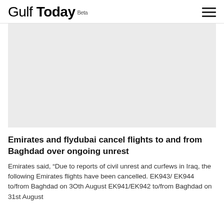Gulf Today Beta
[Figure (photo): Large image placeholder area with light grey background, likely an article image]
Emirates and flydubai cancel flights to and from Baghdad over ongoing unrest
Emirates said, “Due to reports of civil unrest and curfews in Iraq, the following Emirates flights have been cancelled. EK943/ EK944 to/from Baghdad on 3Oth August EK941/EK942 to/from Baghdad on 31st August